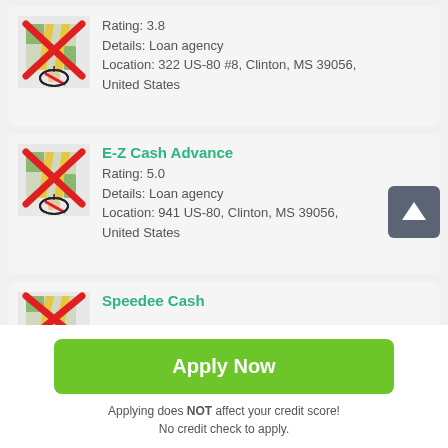[Figure (screenshot): Mobile app listing showing loan agency cards with map icons (crossed out with red X), ratings, details, and location info. Cards for unnamed first entry, E-Z Cash Advance, and Speedee Cash, with Apply Now button.]
Rating: 3.8
Details: Loan agency
Location: 322 US-80 #8, Clinton, MS 39056, United States
E-Z Cash Advance
Rating: 5.0
Details: Loan agency
Location: 941 US-80, Clinton, MS 39056, United States
Speedee Cash
Apply Now
Applying does NOT affect your credit score!
No credit check to apply.